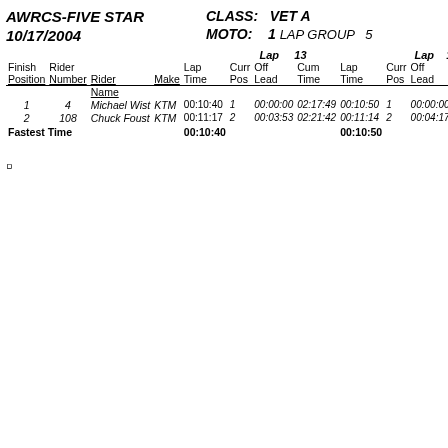AWRCS-FIVE STAR 10/17/2004
CLASS: VET A MOTO: 1 LAP GROUP 5
| Finish Position | Rider Number | Rider Name | Make | Lap Time | Lap 13 Curr Pos | Lap 13 Off Lead | Lap 13 Cum Time | Lap 14 Lap Time | Lap 14 Curr Pos | Lap 14 Off Lead | Lap 14 Cum Time |
| --- | --- | --- | --- | --- | --- | --- | --- | --- | --- | --- | --- |
| 1 | 4 | Michael Wist | KTM | 00:10:40 | 1 | 00:00:00 | 02:17:49 | 00:10:50 | 1 | 00:00:00 | 02:28:3 |
| 2 | 108 | Chuck Foust | KTM | 00:11:17 | 2 | 00:03:53 | 02:21:42 | 00:11:14 | 2 | 00:04:17 | 02:32:5 |
| Fastest Time |  |  |  | 00:10:40 |  |  |  | 00:10:50 |  |  |  |